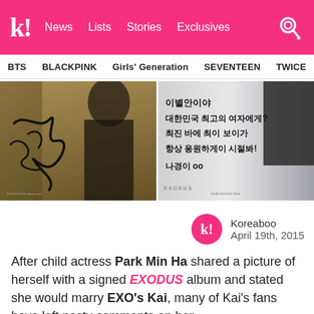k! News Lists Stories Exclusives
BTS BLACKPINK Girls' Generation SEVENTEEN TWICE
[Figure (photo): Two images side by side: left shows a signed EXO EXODUS album cover with a signature in black marker; right shows the back of the album with a handwritten message in Korean]
Koreaboo
April 19th, 2015
After child actress Park Min Ha shared a picture of herself with a signed EXODUS album and stated she would marry EXO's Kai, many of Kai's fans have left nasty comments on her